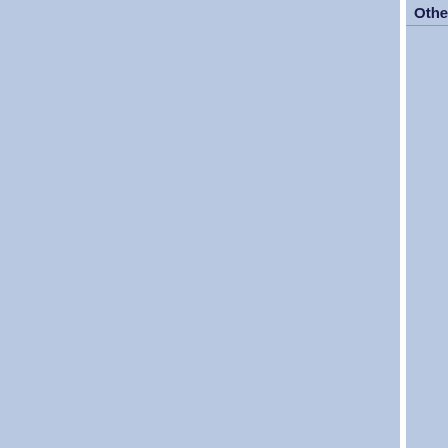| Other mutations in Muc6 | A |
| --- | --- |
|  | IC |
|  | IC |
|  | IC |
|  | IC |
|  | IC |
|  | IC |
|  | IC |
|  | IC |
|  | IC |
|  | IC |
|  | IC |
|  | IC |
|  | IC |
|  | IC |